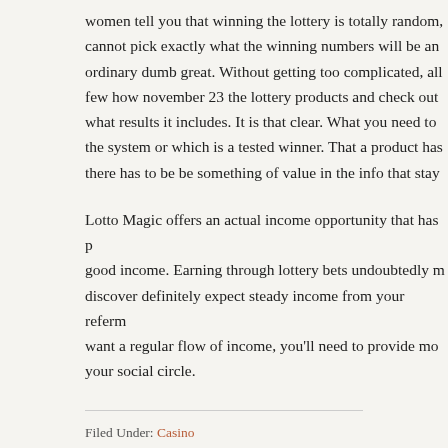women tell you that winning the lottery is totally random, cannot pick exactly what the winning numbers will be and ordinary dumb great. Without getting too complicated, all few how november 23 the lottery products and check out what results it includes. It is that clear. What you need to the system or which is a tested winner. That a product has there has to be be something of value in the info that stay
Lotto Magic offers an actual income opportunity that has good income. Earning through lottery bets undoubtedly m discover definitely expect steady income from your referm want a regular flow of income, you'll need to provide mo your social circle.
Filed Under: Casino
You Could Win Seven Figures Online Scratch Cards